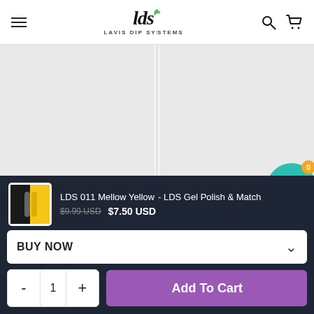LDS - LAVIS DIP SYSTEMS
[Figure (screenshot): Product image placeholder for LDS 099 Pale Yellow - light gray rectangle]
LDS 099 Pale Yellow - LDS Gel Polish & Matching Nail
[Figure (screenshot): Product image placeholder for LDS 035 Bittersweet - light gray rectangle]
LDS 035 Bittersweet - LDS Gel Polish & Matching Nail
[Figure (screenshot): Product thumbnail for LDS 011 Mellow Yellow - small image showing two nail polish bottles]
LDS 011 Mellow Yellow - LDS Gel Polish & Match
$9.99 USD  $7.50 USD
BUY NOW
- 1 +
Add To Cart